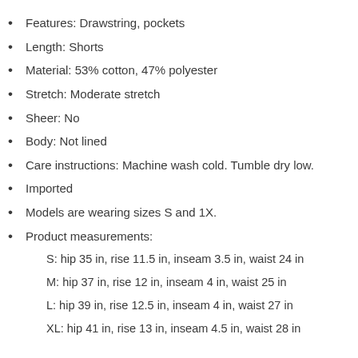Features: Drawstring, pockets
Length: Shorts
Material: 53% cotton, 47% polyester
Stretch: Moderate stretch
Sheer: No
Body: Not lined
Care instructions: Machine wash cold. Tumble dry low.
Imported
Models are wearing sizes S and 1X.
Product measurements:
S: hip 35 in, rise 11.5 in, inseam 3.5 in, waist 24 in
M: hip 37 in, rise 12 in, inseam 4 in, waist 25 in
L: hip 39 in, rise 12.5 in, inseam 4 in, waist 27 in
XL: hip 41 in, rise 13 in, inseam 4.5 in, waist 28 in